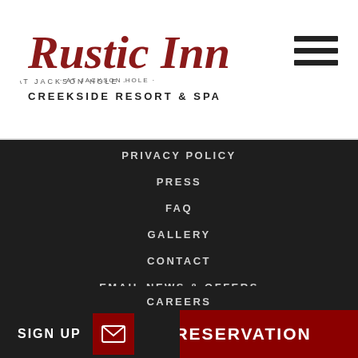[Figure (logo): Rustic Inn at Jackson Hole Creekside Resort & Spa logo in red cursive script]
PRIVACY POLICY
PRESS
FAQ
GALLERY
CONTACT
EMAIL NEWS & OFFERS
CAREERS
SIGN UP
MAKE A RESERVATION